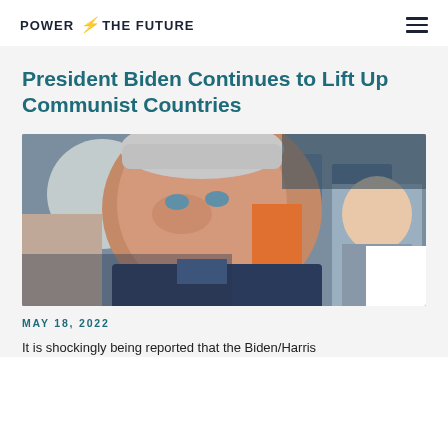POWER THE FUTURE
President Biden Continues to Lift Up Communist Countries
[Figure (photo): Close-up photo of President Biden in a crowd, with a younger man visible in the background to the right.]
MAY 18, 2022
It is shockingly being reported that the Biden/Harris